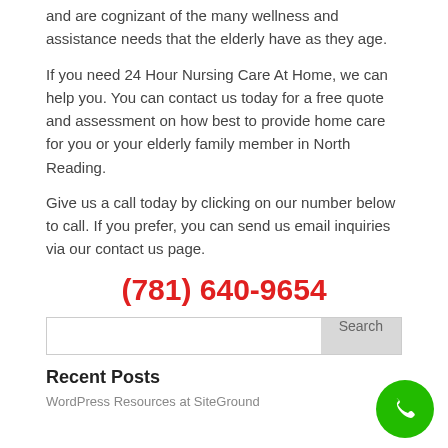and are cognizant of the many wellness and assistance needs that the elderly have as they age.
If you need 24 Hour Nursing Care At Home, we can help you. You can contact us today for a free quote and assessment on how best to provide home care for you or your elderly family member in North Reading.
Give us a call today by clicking on our number below to call. If you prefer, you can send us email inquiries via our contact us page.
(781) 640-9654
Search
Recent Posts
WordPress Resources at SiteGround